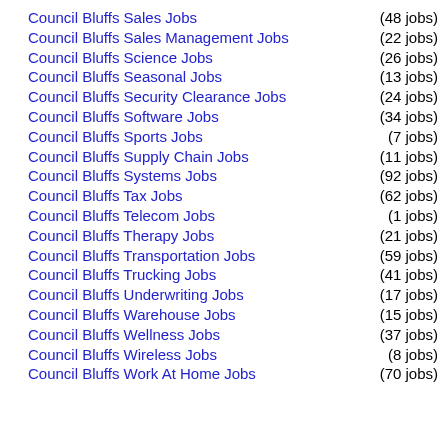Council Bluffs Sales Jobs (48 jobs)
Council Bluffs Sales Management Jobs (22 jobs)
Council Bluffs Science Jobs (26 jobs)
Council Bluffs Seasonal Jobs (13 jobs)
Council Bluffs Security Clearance Jobs (24 jobs)
Council Bluffs Software Jobs (34 jobs)
Council Bluffs Sports Jobs (7 jobs)
Council Bluffs Supply Chain Jobs (11 jobs)
Council Bluffs Systems Jobs (92 jobs)
Council Bluffs Tax Jobs (62 jobs)
Council Bluffs Telecom Jobs (1 jobs)
Council Bluffs Therapy Jobs (21 jobs)
Council Bluffs Transportation Jobs (59 jobs)
Council Bluffs Trucking Jobs (41 jobs)
Council Bluffs Underwriting Jobs (17 jobs)
Council Bluffs Warehouse Jobs (15 jobs)
Council Bluffs Wellness Jobs (37 jobs)
Council Bluffs Wireless Jobs (8 jobs)
Council Bluffs Work At Home Jobs (70 jobs)